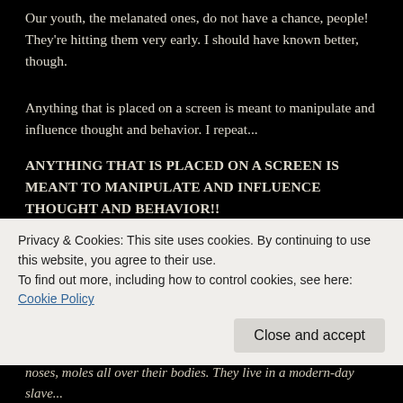Our youth, the melanated ones, do not have a chance, people! They're hitting them very early. I should have known better, though.
Anything that is placed on a screen is meant to manipulate and influence thought and behavior. I repeat...
ANYTHING THAT IS PLACED ON A SCREEN IS MEANT TO MANIPULATE AND INFLUENCE THOUGHT AND BEHAVIOR!!
Even if it's a cartoon, for children.
But someone I'm sitting in the theater, hitting my head, laughing at...
Privacy & Cookies: This site uses cookies. By continuing to use this website, you agree to their use. To find out more, including how to control cookies, see here: Cookie Policy
hoes. They are ugly, grayish-looking creatures with pointed ears and long noses, moles all over their bodies. They live in a modern-day slave...